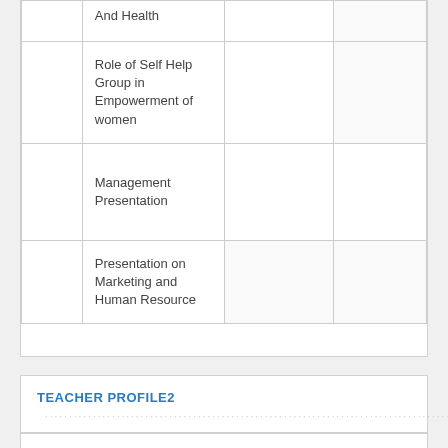|  |  |  |  |
| --- | --- | --- | --- |
|  | And Health |  |  |
|  | Role of Self Help Group in Empowerment of women |  |  |
|  | Management Presentation |  |  |
|  | Presentation on Marketing and Human Resource |  |  |
TEACHER PROFILE2
Dr. Deepak Raverkar (Principal)